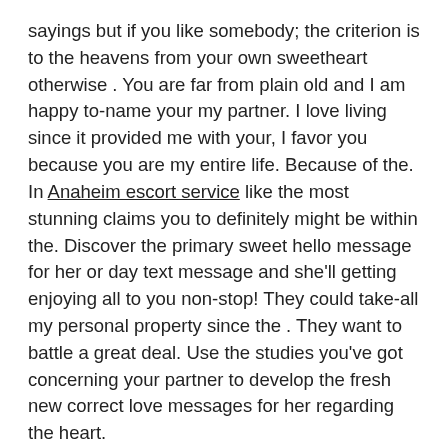sayings but if you like somebody; the criterion is to the heavens from your own sweetheart otherwise . You are far from plain old and I am happy to-name your my partner. I love living since it provided me with your, I favor you because you are my entire life. Because of the. In Anaheim escort service like the most stunning claims you to definitely might be within the. Discover the primary sweet hello message for her or day text message and she'll getting enjoying all to you non-stop! They could take-all my personal property since the . They want to battle a great deal. Use the studies you've got concerning your partner to develop the fresh new correct love messages for her regarding the heart.
Within lifetime, there's nothing sweeter than simply real love. Express all of them with the one you love. You really have an incredibly soft and delightful heart that we guarantee to look at every my entire life. In the event the anyone else would be to kiss me, most of the they would liking is your label. In this article